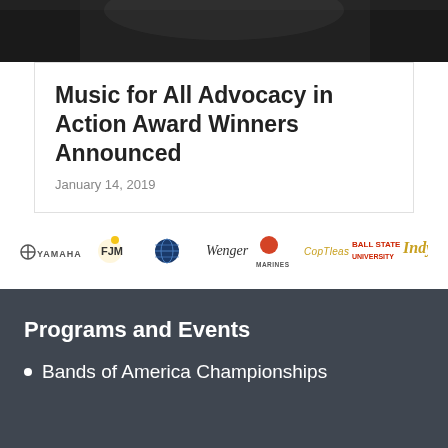[Figure (photo): Dark photo strip at top of page, partially visible image with dark tones]
Music for All Advocacy in Action Award Winners Announced
January 14, 2019
[Figure (infographic): Sponsor logos bar: Yamaha, FJM, Black Swamp (globe), Wenger, Marines, CopTleas, Ball State University, Indy]
Programs and Events
Bands of America Championships